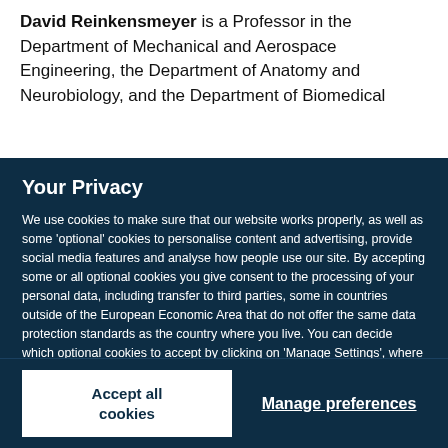David Reinkensmeyer is a Professor in the Department of Mechanical and Aerospace Engineering, the Department of Anatomy and Neurobiology, and the Department of Biomedical
Your Privacy
We use cookies to make sure that our website works properly, as well as some 'optional' cookies to personalise content and advertising, provide social media features and analyse how people use our site. By accepting some or all optional cookies you give consent to the processing of your personal data, including transfer to third parties, some in countries outside of the European Economic Area that do not offer the same data protection standards as the country where you live. You can decide which optional cookies to accept by clicking on 'Manage Settings', where you can also find more information about how your personal data is processed. Further information can be found in our privacy policy.
Accept all cookies
Manage preferences